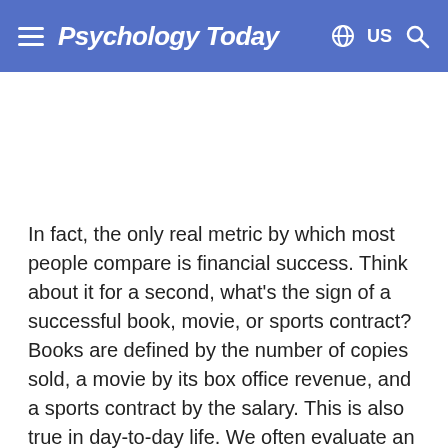Psychology Today
In fact, the only real metric by which most people compare is financial success. Think about it for a second, what's the sign of a successful book, movie, or sports contract? Books are defined by the number of copies sold, a movie by its box office revenue, and a sports contract by the salary. This is also true in day-to-day life. We often evaluate an opportunity based on its financial